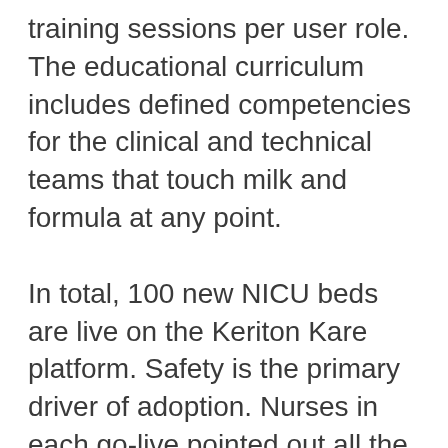training sessions per user role. The educational curriculum includes defined competencies for the clinical and technical teams that touch milk and formula at any point.
In total, 100 new NICU beds are live on the Keriton Kare platform. Safety is the primary driver of adoption. Nurses in each go-live pointed out all the opportunities for error that Keriton prevents and eliminates. EMR baby-to-bottle scans offer a false sense of security for clinicians and families. Because EMRs treat milk like medication, nurses and milk techs are burdened by the tens of thousands of mental validations each month to